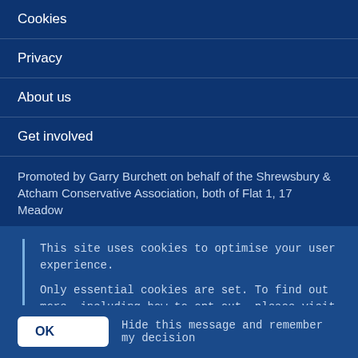Cookies
Privacy
About us
Get involved
Promoted by Garry Burchett on behalf of the Shrewsbury & Atcham Conservative Association, both of Flat 1, 17 Meadow
This site uses cookies to optimise your user experience.

Only essential cookies are set. To find out more, including how to opt out, please visit the Cookies page.
OK   Hide this message and remember my decision